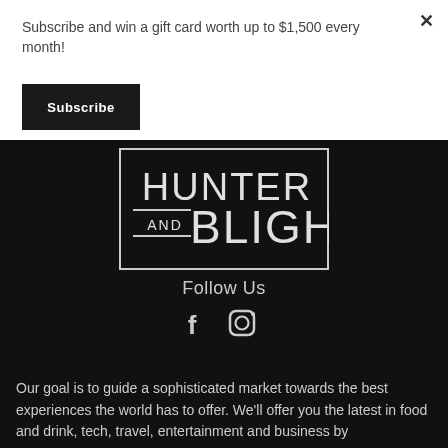Subscribe and win a gift card worth up to $1,500 every month!
Subscribe
[Figure (logo): Hunter and Bligh logo — white text on dark background inside a rectangular border. Large text reads HUNTER on top and BLIGH on bottom with AND in smaller text between.]
Follow Us
[Figure (infographic): Facebook and Instagram social media icons in white]
Our goal is to guide a sophisticated market towards the best experiences the world has to offer. We'll offer you the latest in food and drink, tech, travel, entertainment and business by